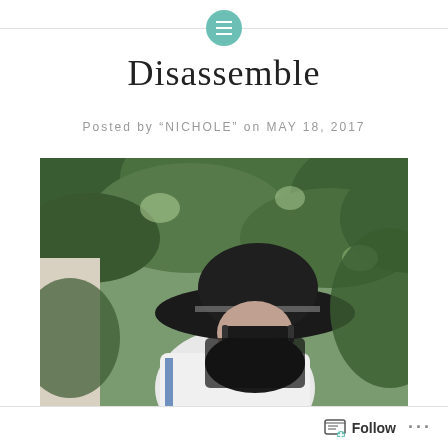Disassemble
Posted by "NICHOLE" on MAY 18, 2017
[Figure (photo): Woman wearing a wide-brim black hat and sunglasses, dressed in white, standing outdoors in front of green leafy trees and a light-colored building.]
Follow ...